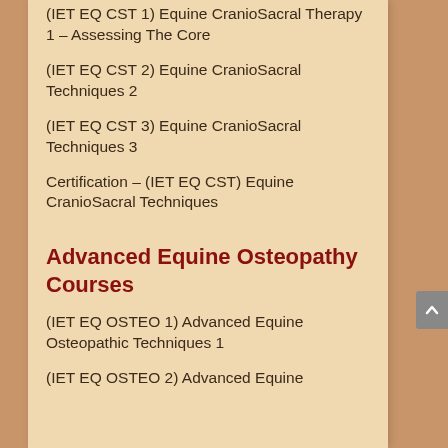(IET EQ CST 1) Equine CranioSacral Therapy 1 – Assessing The Core
(IET EQ CST 2) Equine CranioSacral Techniques 2
(IET EQ CST 3) Equine CranioSacral Techniques 3
Certification – (IET EQ CST) Equine CranioSacral Techniques
Advanced Equine Osteopathy Courses
(IET EQ OSTEO 1) Advanced Equine Osteopathic Techniques 1
(IET EQ OSTEO 2) Advanced Equine